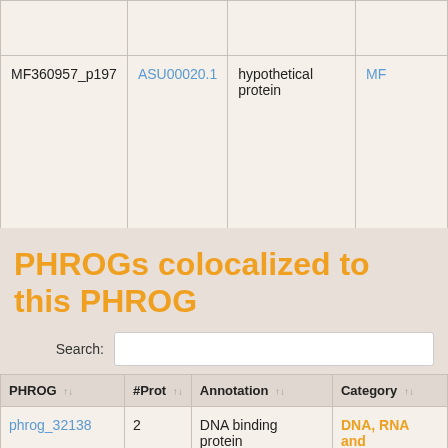|  |  |  |  |
| --- | --- | --- | --- |
|  |  |  |  |
| MF360957_p197 | ASU00020.1 | hypothetical protein | MF |
PHROGs colocalized to this PHROG
| PHROG | #Prot | Annotation | Category |
| --- | --- | --- | --- |
| phrog_32138 | 2 | DNA binding protein | DNA, RNA and nucleotide metabolism |